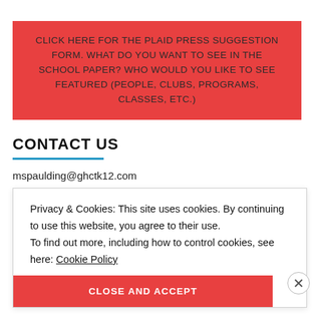CLICK HERE FOR THE PLAID PRESS SUGGESTION FORM. WHAT DO YOU WANT TO SEE IN THE SCHOOL PAPER? WHO WOULD YOU LIKE TO SEE FEATURED (PEOPLE, CLUBS, PROGRAMS, CLASSES, ETC.)
CONTACT US
mspaulding@ghctk12.com
Privacy & Cookies: This site uses cookies. By continuing to use this website, you agree to their use.
To find out more, including how to control cookies, see here: Cookie Policy
CLOSE AND ACCEPT